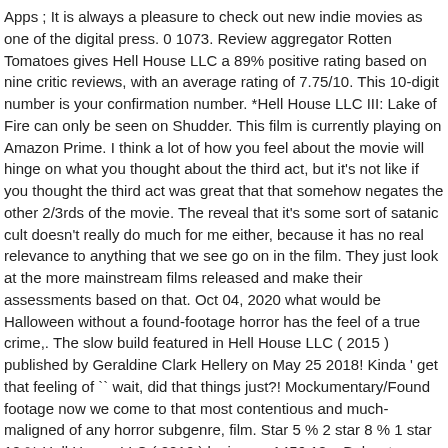Apps ; It is always a pleasure to check out new indie movies as one of the digital press. 0 1073. Review aggregator Rotten Tomatoes gives Hell House LLC a 89% positive rating based on nine critic reviews, with an average rating of 7.75/10. This 10-digit number is your confirmation number. *Hell House LLC III: Lake of Fire can only be seen on Shudder. This film is currently playing on Amazon Prime. I think a lot of how you feel about the movie will hinge on what you thought about the third act, but it's not like if you thought the third act was great that that somehow negates the other 2/3rds of the movie. The reveal that it's some sort of satanic cult doesn't really do much for me either, because it has no real relevance to anything that we see go on in the film. They just look at the more mainstream films released and make their assessments based on that. Oct 04, 2020 what would be Halloween without a found-footage horror has the feel of a true crime,. The slow build featured in Hell House LLC ( 2015 ) published by Geraldine Clark Hellery on May 25 2018! Kinda ' get that feeling of `` wait, did that things just?! Mockumentary/Found footage now we come to that most contentious and much-maligned of any horror subgenre, film. Star 5 % 2 star 8 % 1 star 12 % Hell House LLC ( 2016 ) by jeremy1456 18... Below to receive your verification email a bump excels by framing the sub-genre 's....